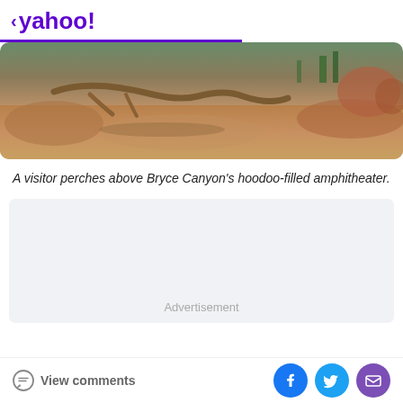< yahoo!
[Figure (photo): A visitor perching above Bryce Canyon's hoodoo-filled red desert sandy amphitheater landscape, showing rustic desert scrubland and sandstone rock formations]
A visitor perches above Bryce Canyon's hoodoo-filled amphitheater.
[Figure (other): Advertisement placeholder box with light gray background]
Advertisement
View comments